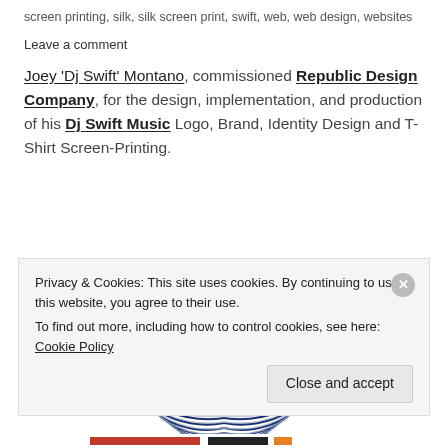screen printing, silk, silk screen print, swift, web, web design, websites
Leave a comment
Joey 'Dj Swift' Montano, commissioned Republic Design Company, for the design, implementation, and production of his Dj Swift Music Logo, Brand, Identity Design and T-Shirt Screen-Printing.
[Figure (logo): Semicircular arc logo made of concentric dark blue and light grey arcs, split into two halves, forming a DJ Swift Music brand mark.]
Privacy & Cookies: This site uses cookies. By continuing to use this website, you agree to their use.
To find out more, including how to control cookies, see here: Cookie Policy
Close and accept